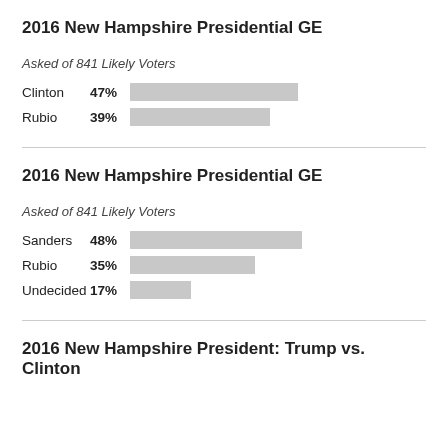2016 New Hampshire Presidential GE
Asked of 841 Likely Voters
[Figure (bar-chart): 2016 New Hampshire Presidential GE]
2016 New Hampshire Presidential GE
Asked of 841 Likely Voters
[Figure (bar-chart): 2016 New Hampshire Presidential GE]
2016 New Hampshire President: Trump vs. Clinton